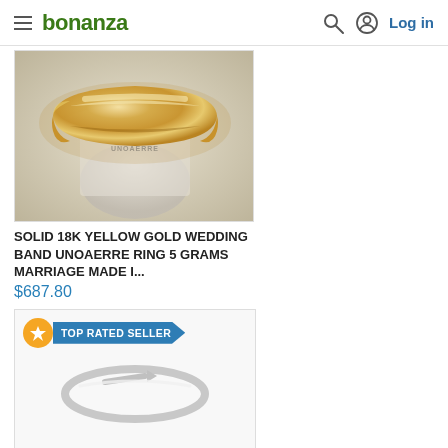bonanza — Log in
[Figure (photo): Gold wedding band ring (Unoaerre) displayed on a stand, photographed up close showing the polished yellow gold finish]
SOLID 18K YELLOW GOLD WEDDING BAND UNOAERRE RING 5 GRAMS MARRIAGE MADE I...
$687.80
TOP RATED SELLER
[Figure (photo): Silver arrow ring displayed on white background, showing a thin band with a small arrow design]